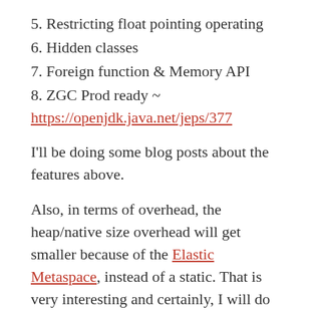5. Restricting float pointing operating
6. Hidden classes
7. Foreign function & Memory API
8. ZGC Prod ready ~ https://openjdk.java.net/jeps/377
I'll be doing some blog posts about the features above.
Also, in terms of overhead, the heap/native size overhead will get smaller because of the Elastic Metaspace, instead of a static. That is very interesting and certainly, I will do some benchmarks to see the comparison.
There was much stuff removal/deprecated as well, like CMS, Nashorn, RMI activation.
It is important to highlight here that ZGC, the ultra…